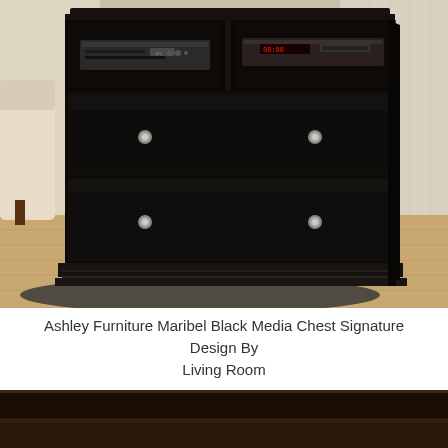[Figure (photo): A black media chest (Ashley Furniture Maribel) with two open compartments at the top holding electronic equipment (DVD/Blu-ray players), two large drawers with silver round knobs, and a molded base. The furniture is photographed in a living room setting with hardwood floors, a dark rug, and cream-colored chair visible in the background.]
Ashley Furniture Maribel Black Media Chest Signature Design By Living Room
[Figure (photo): Partial view of another dark brown/black furniture piece, cropped at the bottom of the page.]